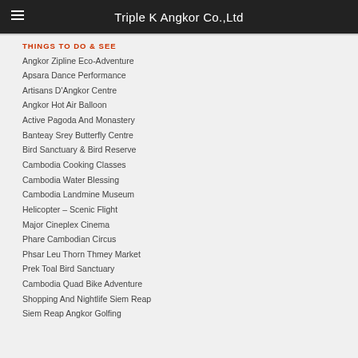Triple K Angkor Co.,Ltd
THINGS TO DO & SEE
Angkor Zipline Eco-Adventure
Apsara Dance Performance
Artisans D'Angkor Centre
Angkor Hot Air Balloon
Active Pagoda And Monastery
Banteay Srey Butterfly Centre
Bird Sanctuary & Bird Reserve
Cambodia Cooking Classes
Cambodia Water Blessing
Cambodia Landmine Museum
Helicopter – Scenic Flight
Major Cineplex Cinema
Phare Cambodian Circus
Phsar Leu Thorn Thmey Market
Prek Toal Bird Sanctuary
Cambodia Quad Bike Adventure
Shopping And Nightlife Siem Reap
Siem Reap Angkor Golfing